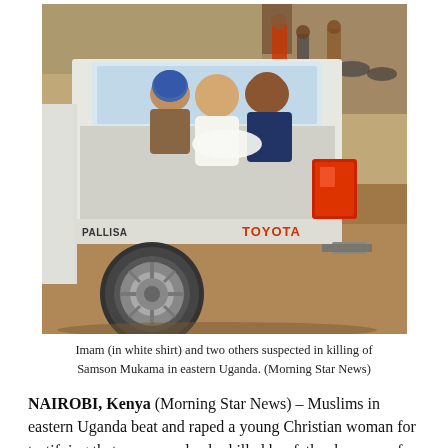[Figure (photo): A white Toyota pickup truck (Hilux) with people sitting in the truck bed. The truck is viewed from the rear-right angle. People including a man in a white shirt are visible in the bed. A crowd is visible in the background on a dirt road in Uganda.]
Imam (in white shirt) and two others suspected in killing of Samson Mukama in eastern Uganda. (Morning Star News)
NAIROBI, Kenya (Morning Star News) – Muslims in eastern Uganda beat and raped a young Christian woman for testifying that a mosque leader killed her father because of his faith, sources said.
The imam at a mosque in Kanyumu village, Pallisa District, Sheikh Musana Ibrahim, and two other Muslims killed Samson